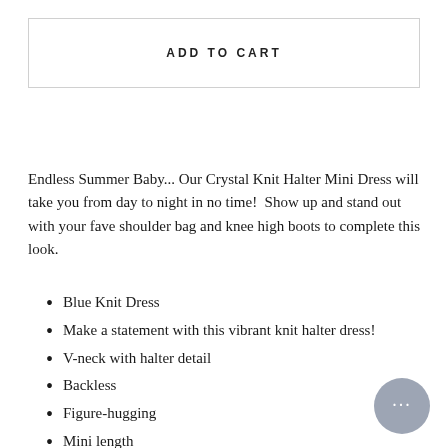ADD TO CART
Endless Summer Baby... Our Crystal Knit Halter Mini Dress will take you from day to night in no time!  Show up and stand out with your fave shoulder bag and knee high boots to complete this look.
Blue Knit Dress
Make a statement with this vibrant knit halter dress!
V-neck with halter detail
Backless
Figure-hugging
Mini length
Knit stretch fabric
Unlined
Lilly wears XS- small